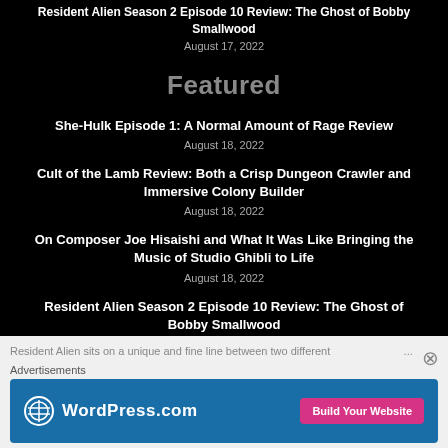Resident Alien Season 2 Episode 10 Review: The Ghost of Bobby Smallwood
August 17, 2022
Featured
She-Hulk Episode 1: A Normal Amount of Rage Review
August 18, 2022
Cult of the Lamb Review: Both a Crisp Dungeon Crawler and Immersive Colony Builder
August 18, 2022
On Composer Joe Hisaishi and What It Was Like Bringing the Music of Studio Ghibli to Life
August 18, 2022
Resident Alien Season 2 Episode 10 Review: The Ghost of Bobby Smallwood
Resident Alien sits on a unique and fine line between two different ...
Advertisements
[Figure (screenshot): WordPress.com advertisement with blue background, WordPress logo, brand name, and pink 'Build Your Website' button]